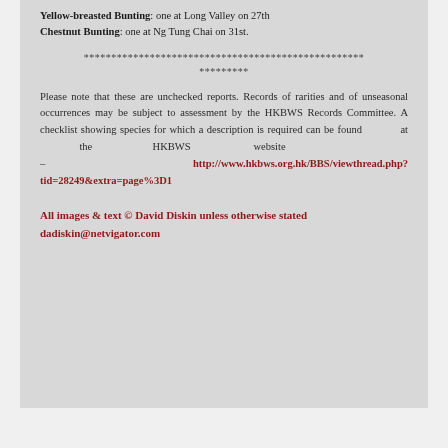Yellow-breasted Bunting: one at Long Valley on 27th
Chestnut Bunting: one at Ng Tung Chai on 31st.
***************************************************
*********
Please note that these are unchecked reports. Records of rarities and of unseasonal occurrences may be subject to assessment by the HKBWS Records Committee. A checklist showing species for which a description is required can be found at the HKBWS website – http://www.hkbws.org.hk/BBS/viewthread.php?tid=28249&extra=page%3D1
All images & text © David Diskin unless otherwise stated
dadiskin@netvigator.com